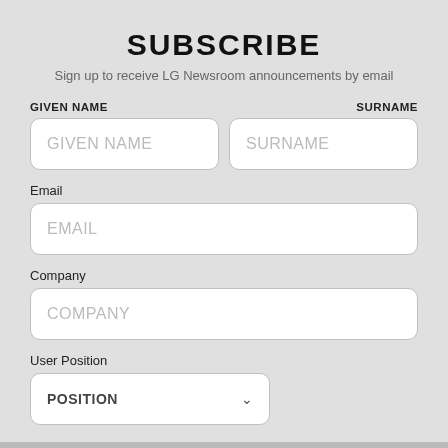SUBSCRIBE
Sign up to receive LG Newsroom announcements by email
GIVEN NAME
SURNAME
GIVEN NAME (placeholder)
SURNAME (placeholder)
Email
EMAIL (placeholder)
Company
COMPANY (placeholder)
User Position
POSITION (dropdown)